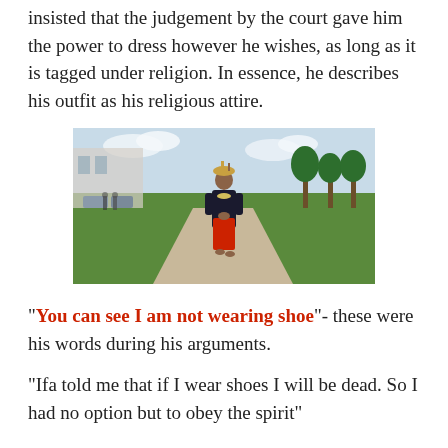insisted that the judgement by the court gave him the power to dress however he wishes, as long as it is tagged under religion. In essence, he describes his outfit as his religious attire.
[Figure (photo): A man dressed in traditional/religious attire — dark robe, red skirt, beaded necklace, and a headdress — walking on a paved path outside a building surrounded by green lawn and trees.]
“You can see I am not wearing shoe”- these were his words during his arguments.
“Ifa told me that if I wear shoes I will be dead. So I had no option but to obey the spirit”